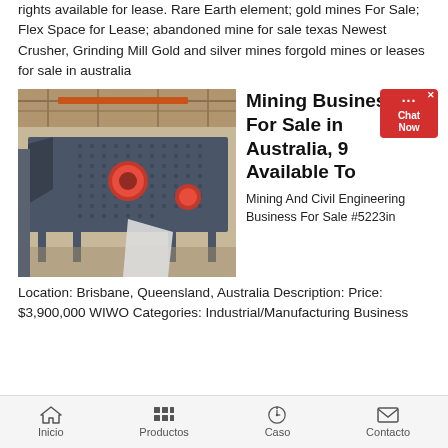rights available for lease. Rare Earth element; gold mines For Sale; Flex Space for Lease; abandoned mine for sale texas Newest Crusher, Grinding Mill Gold and silver mines forgold mines or leases for sale in australia
[Figure (photo): Industrial mining/crushing machine (vibrating screen) photographed in a warehouse/factory setting. Large grey metal machine with red cylindrical components, perforated panels, mounted on a frame inside a large industrial building.]
Mining Businesses For Sale in Australia, 9 Available To
Mining And Civil Engineering Business For Sale #5223in
Location: Brisbane, Queensland, Australia Description: Price: $3,900,000 WIWO Categories: Industrial/Manufacturing Business
Inicio   Productos   Caso   Contacto